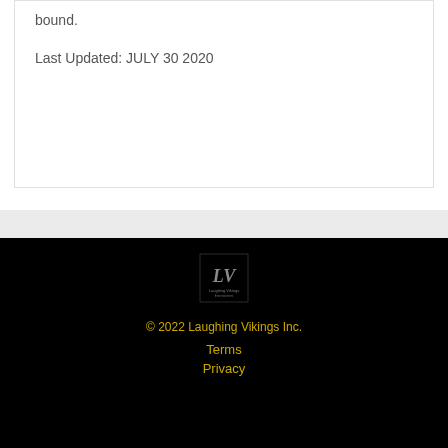bound.
Last Updated: JULY 30 2020
[Figure (logo): Laughing Vikings Inc. logo — stylized LV monogram with company name below]
© 2022 Laughing Vikings Inc.
Terms
Privacy